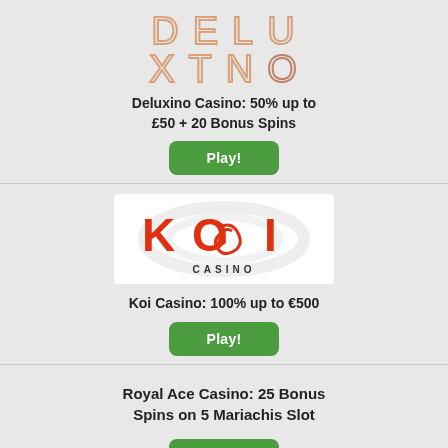[Figure (logo): Deluxino Casino logo made of outlined letters in two rows: D E L U / X T N O in a peach/salmon outline style]
Deluxino Casino: 50% up to £50 + 20 Bonus Spins
Play!
[Figure (logo): Koi Casino logo: red KOI text with swirl O design and CASINO text below, on white background]
Koi Casino: 100% up to €500
Play!
Royal Ace Casino: 25 Bonus Spins on 5 Mariachis Slot
Play!